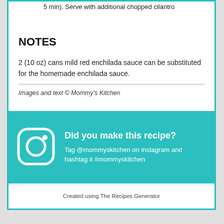5 min). Serve with additional chopped cilantro
NOTES
2 (10 oz) cans mild red enchilada sauce can be substituted for the homemade enchilada sauce.
Images and text © Mommy's Kitchen
Did you make this recipe? Tag @mommyskitchen on instagram and hashtag it #mommyskitchen
Created using The Recipes Generator